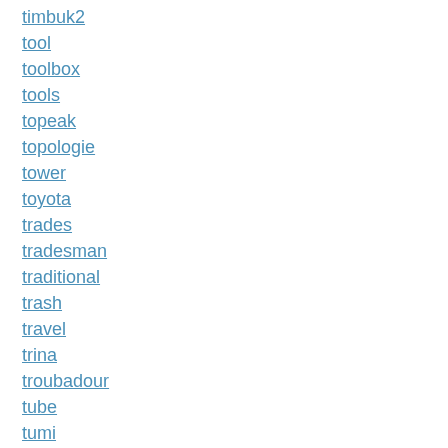timbuk2
tool
toolbox
tools
topeak
topologie
tower
toyota
trades
tradesman
traditional
trash
travel
trina
troubadour
tube
tumi